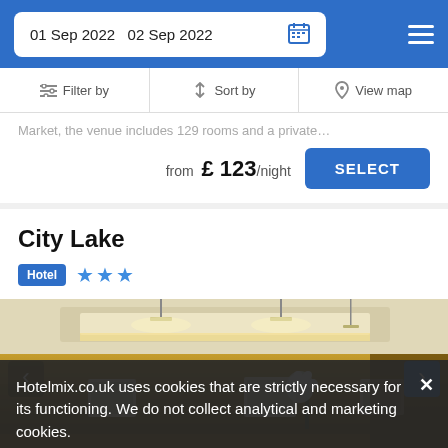01 Sep 2022  02 Sep 2022
Filter by  Sort by  View map
Market, the venue includes 129 rooms and a private…
from £ 123/night  SELECT
City Lake
Hotel ★★★
[Figure (photo): Interior lobby photo of City Lake hotel showing warm gold-lit ceiling with pendant lights, framed artwork on walls, and white floral arrangement]
Hotelmix.co.uk uses cookies that are strictly necessary for its functioning. We do not collect analytical and marketing cookies.